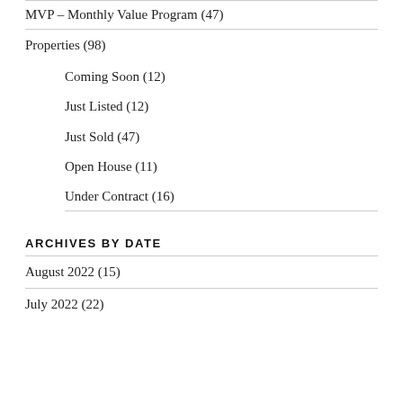MVP – Monthly Value Program (47)
Properties (98)
Coming Soon (12)
Just Listed (12)
Just Sold (47)
Open House (11)
Under Contract (16)
ARCHIVES BY DATE
August 2022 (15)
July 2022 (22)